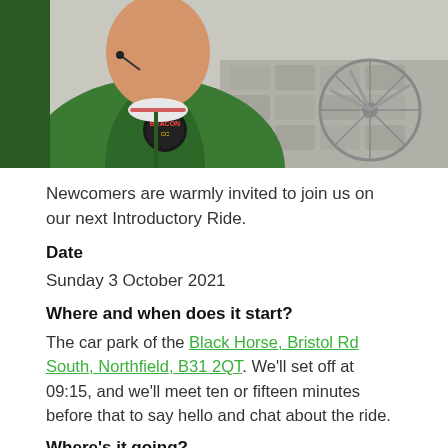[Figure (photo): Photo of a cyclist wearing a green jersey with a Beacon cycling club badge, holding up a phone/camera for a selfie. A bicycle is visible in the background on a paved surface.]
Newcomers are warmly invited to join us on our next Introductory Ride.
Date
Sunday 3 October 2021
Where and when does it start?
The car park of the Black Horse, Bristol Rd South, Northfield, B31 2QT. We'll set off at 09:15, and we'll meet ten or fifteen minutes before that to say hello and chat about the ride.
Where's it going?
This month's Intro Ride is going to The View café in